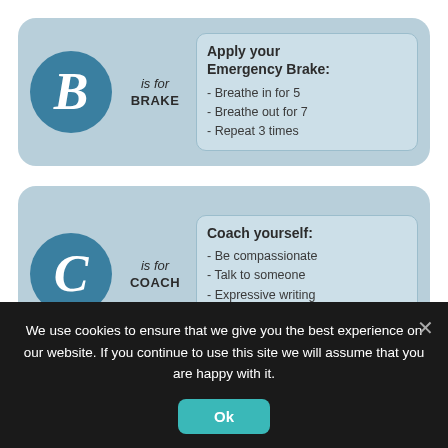[Figure (infographic): Card with letter B in teal circle, 'is for BRAKE' label, and info box 'Apply your Emergency Brake: - Breathe in for 5 - Breathe out for 7 - Repeat 3 times']
[Figure (infographic): Card with letter C in teal circle, 'is for COACH' label, and info box 'Coach yourself: - Be compassionate - Talk to someone - Expressive writing - Motion to shift emotion']
We use cookies to ensure that we give you the best experience on our website. If you continue to use this site we will assume that you are happy with it.